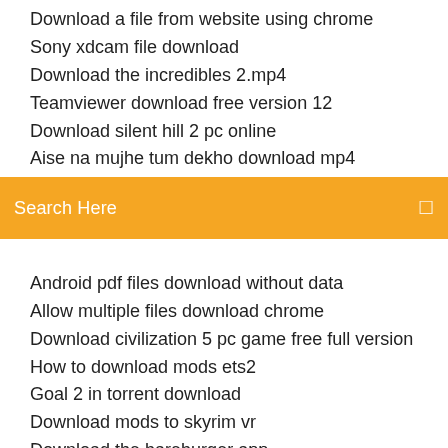Download a file from website using chrome
Sony xdcam file download
Download the incredibles 2.mp4
Teamviewer download free version 12
Download silent hill 2 pc online
Aise na mujhe tum dekho download mp4
[Figure (screenshot): Orange search bar with text 'Search Here' and a small icon on the right]
(partial item cut off at top)
Android pdf files download without data
Allow multiple files download chrome
Download civilization 5 pc game free full version
How to download mods ets2
Goal 2 in torrent download
Download mods to skyrim vr
Download the bareburger app
Brother mfc7440n driver download
Download lock and hide folder full version crack
Strategic management rothaermel pdf download